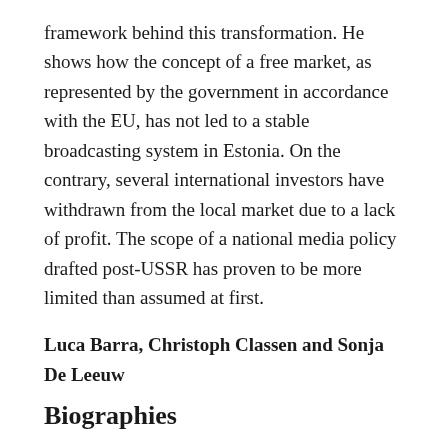framework behind this transformation. He shows how the concept of a free market, as represented by the government in accordance with the EU, has not led to a stable broadcasting system in Estonia. On the contrary, several international investors have withdrawn from the local market due to a lack of profit. The scope of a national media policy drafted post-USSR has proven to be more limited than assumed at first.
Luca Barra, Christoph Classen and Sonja De Leeuw
Biographies
Luca Barra is senior assistant professor at Università di Bologna, Italy, where he teaches Radio and Television History and Digital Media. Before, he has been a post-